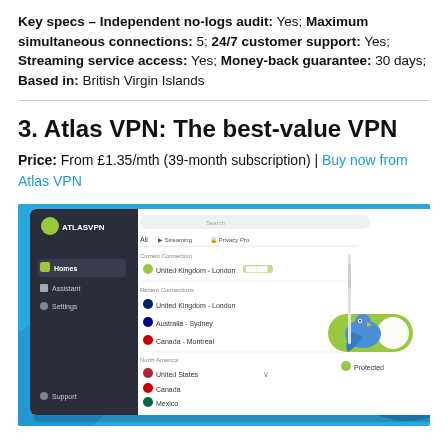Key specs – Independent no-logs audit: Yes; Maximum simultaneous connections: 5; 24/7 customer support: Yes; Streaming service access: Yes; Money-back guarantee: 30 days; Based in: British Virgin Islands
3. Atlas VPN: The best-value VPN
Price: From £1.35/mth (39-month subscription) | Buy now from Atlas VPN
[Figure (screenshot): Screenshot of Atlas VPN application interface on Windows 11, showing the server list with United Kingdom - London as current connection, and a connected/protected status toggle with the Atlas VPN mascot bird, on a blue Windows 11 desktop background.]